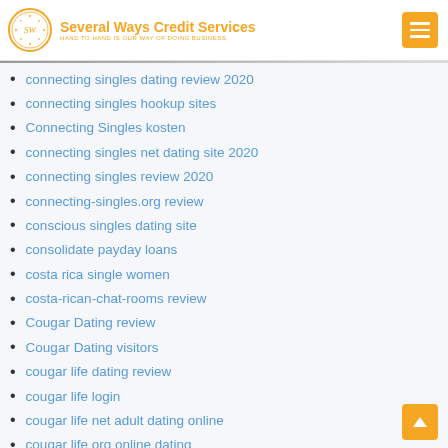Several Ways Credit Services — HAND TO HAND IS OUR WAY OF DOING BUSINESS
connecting singles dating review 2020
connecting singles hookup sites
Connecting Singles kosten
connecting singles net dating site 2020
connecting singles review 2020
connecting-singles.org review
conscious singles dating site
consolidate payday loans
costa rica single women
costa-rican-chat-rooms review
Cougar Dating review
Cougar Dating visitors
cougar life dating review
cougar life login
cougar life net adult dating online
cougar life org online dating
Cougar Life profile
Cougar Life review
Cougar Life visitors